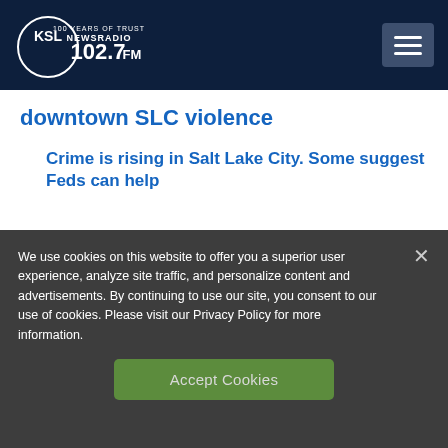KSL NewsRadio 102.7FM
downtown SLC violence
Crime is rising in Salt Lake City. Some suggest Feds can help
We use cookies on this website to offer you a superior user experience, analyze site traffic, and personalize content and advertisements. By continuing to use our site, you consent to our use of cookies. Please visit our Privacy Policy for more information.
Accept Cookies